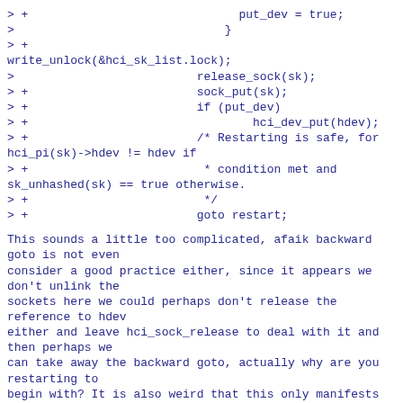[Figure (other): Code diff snippet showing lines with > and > + prefixes, including put_dev = true, closing brace, write_unlock(&hci_sk_list.lock), release_sock(sk), sock_put(sk), if (put_dev), hci_dev_put(hdev), a comment about restarting, and goto restart]
This sounds a little too complicated, afaik backward goto is not even
consider a good practice either, since it appears we don't unlink the
sockets here we could perhaps don't release the reference to hdev
either and leave hci_sock_release to deal with it and then perhaps we
can take away the backward goto, actually why are you restarting to
begin with? It is also weird that this only manifests in the Bluetooth
HCI sockets or other subsystems don't use such locking mechanism
anyore?